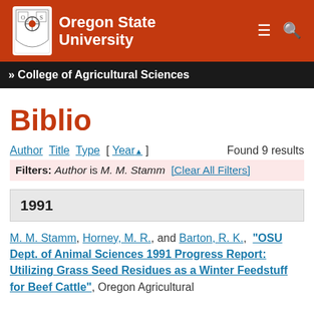Oregon State University | College of Agricultural Sciences
Biblio
Author Title Type [ Year▲ ]   Found 9 results
Filters: Author is M. M. Stamm [Clear All Filters]
1991
M. M. Stamm, Horney, M. R., and Barton, R. K., "OSU Dept. of Animal Sciences 1991 Progress Report: Utilizing Grass Seed Residues as a Winter Feedstuff for Beef Cattle", Oregon Agricultural